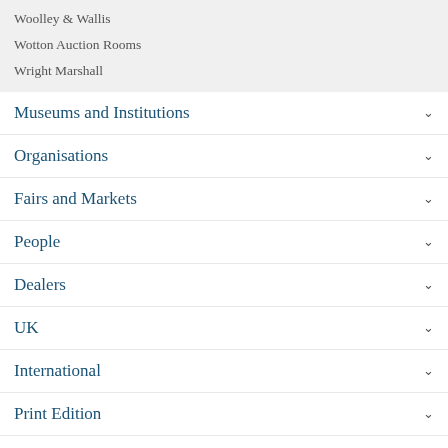Woolley & Wallis
Wotton Auction Rooms
Wright Marshall
Museums and Institutions
Organisations
Fairs and Markets
People
Dealers
UK
International
Print Edition
Categories
Asian Art
Clocks, Watches & Jewellery